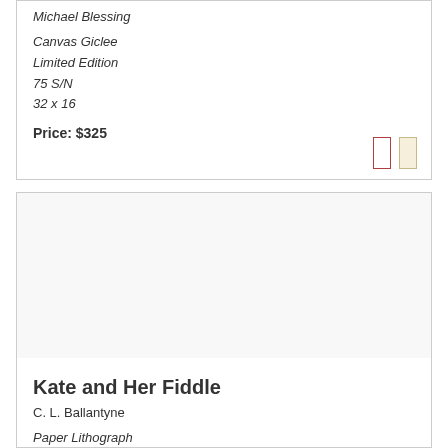Michael Blessing
Canvas Giclee
Limited Edition
75 S/N
32 x 16
Price: $325
Kate and Her Fiddle
C. L. Ballantyne
Paper Lithograph
Limited Edition
850 S/N